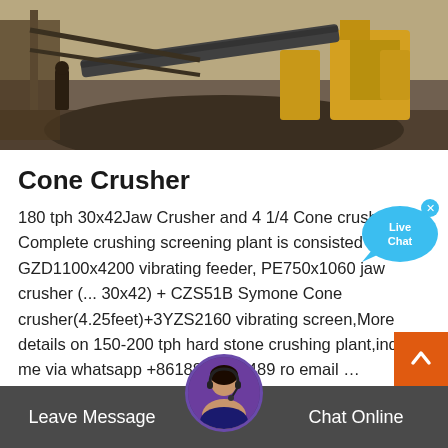[Figure (photo): Photograph of a stone crushing and screening plant with yellow machinery and conveyor belts at a quarry site.]
Cone Crusher
180 tph 30x42Jaw Crusher and 4 1/4 Cone crusher Complete crushing screening plant is consisted of GZD1100x4200 vibrating feeder, PE750x1060 jaw crusher (... 30x42) + CZS51B Symone Cone crusher(4.25feet)+3YZS2160 vibrating screen,More details on 150-200 tph hard stone crushing plant,inquire me via whatsapp +8618838186489 ro email …
[Figure (other): Live Chat speech bubble button in blue with 'Live Chat' text and a close (x) button.]
Read More
[Figure (photo): Customer support agent avatar photo (woman with headset) in a circular frame at the bottom center.]
Leave Message
Chat Online